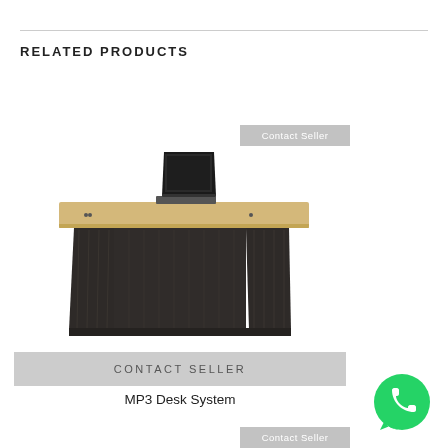RELATED PRODUCTS
[Figure (photo): Office desk with dark wood panel sides and light wood top surface, with a laptop open on top. Product: MP3 Desk System.]
Contact Seller
CONTACT SELLER
MP3 Desk System
[Figure (logo): WhatsApp green phone icon button]
Contact Seller